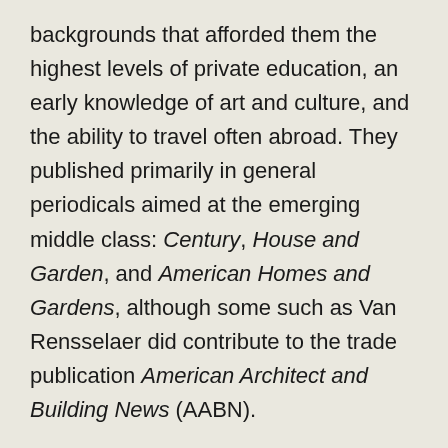backgrounds that afforded them the highest levels of private education, an early knowledge of art and culture, and the ability to travel often abroad. They published primarily in general periodicals aimed at the emerging middle class: Century, House and Garden, and American Homes and Gardens, although some such as Van Rensselaer did contribute to the trade publication American Architect and Building News (AABN).

Embracing the 19th-century notion of the cult of domesticity, they served as style dictators endorsing particular aesthetics and architects, and instructing the new glut of middle class